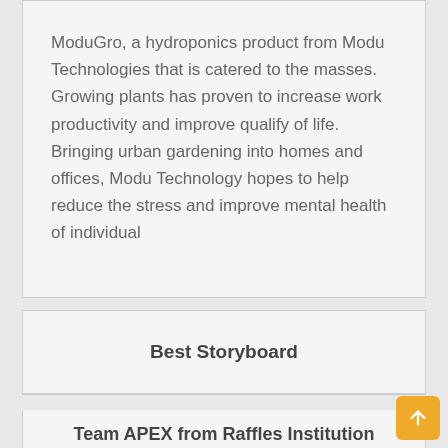ModuGro, a hydroponics product from Modu Technologies that is catered to the masses. Growing plants has proven to increase work productivity and improve qualify of life. Bringing urban gardening into homes and offices, Modu Technology hopes to help reduce the stress and improve mental health of individual
Best Storyboard
Team APEX from Raffles Institution